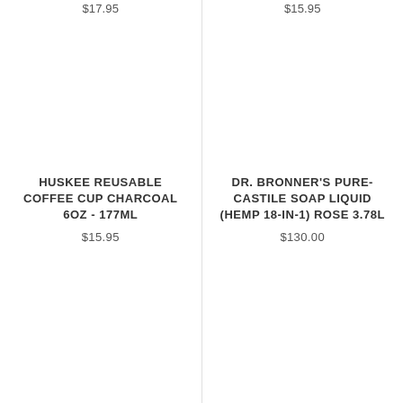$17.95
$15.95
HUSKEE REUSABLE COFFEE CUP CHARCOAL 6OZ - 177ML
$15.95
$15.95
DR. BRONNER'S PURE-CASTILE SOAP LIQUID (HEMP 18-IN-1) ROSE 3.78L
$130.00